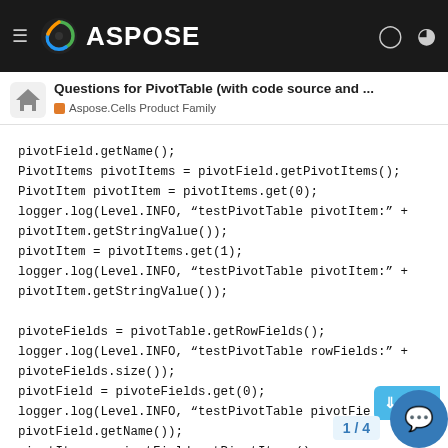ASPOSE
Questions for PivotTable (with code source and ...
Aspose.Cells Product Family
pivotField.getName();
PivotItems pivotItems = pivotField.getPivotItems();
PivotItem pivotItem = pivotItems.get(0);
logger.log(Level.INFO, “testPivotTable pivotItem:” + pivotItem.getStringValue());
pivotItem = pivotItems.get(1);
logger.log(Level.INFO, “testPivotTable pivotItem:” + pivotItem.getStringValue());

pivoteFields = pivotTable.getRowFields();
logger.log(Level.INFO, “testPivotTable rowFields:” + pivoteFields.size());
pivotField = pivoteFields.get(0);
logger.log(Level.INFO, “testPivotTable pivotField:” + pivotField.getName());
pivotItems = pivotField.getPivotItems();
pivotItem = pivotItems.get(0);